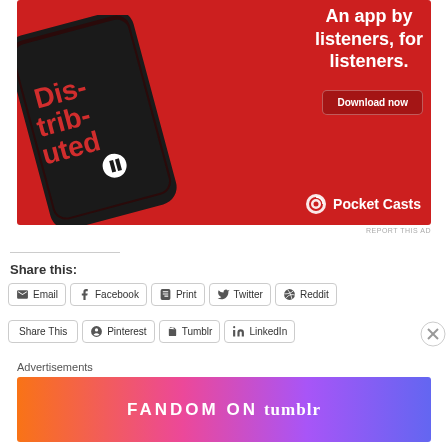[Figure (photo): Pocket Casts advertisement on red background showing a smartphone with 'Distributed' podcast app, text 'An app by listeners, for listeners.' and 'Download now' button with Pocket Casts logo]
REPORT THIS AD
Share this:
Email
Facebook
Print
Twitter
Reddit
Share This
Pinterest
Tumblr
LinkedIn
Advertisements
[Figure (photo): Fandom on Tumblr advertisement with colorful gradient background (orange to purple) with text 'FANDOM ON tumblr']